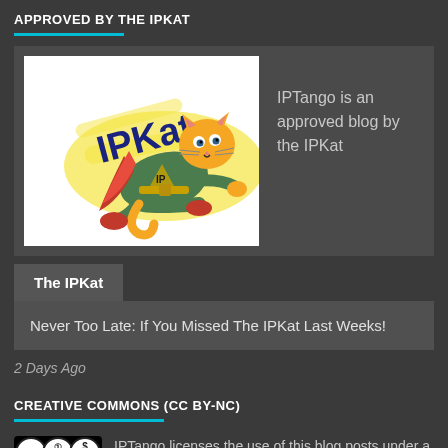APPROVED BY THE IPKAT
[Figure (illustration): IPKat superhero cat illustration with yellow background and 'IPKat' text]
IPTango is an approved blog by the IPKat
The IPKat
Never Too Late: If You Missed The IPKat Last Weeks!
2 Days Ago
CREATIVE COMMONS (CC BY-NC)
[Figure (logo): Creative Commons CC BY-NC logo]
IPTango licenses the use of this blog posts under a